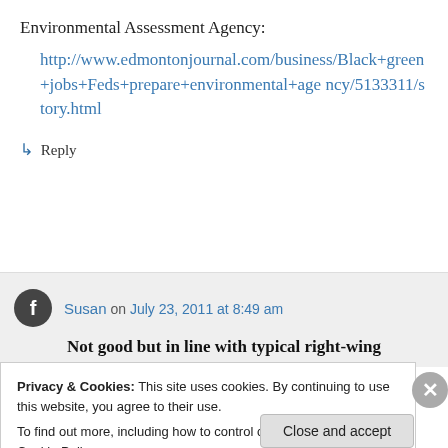Environmental Assessment Agency:
http://www.edmontonjournal.com/business/Black+green+jobs+Feds+prepare+environmental+agency/5133311/story.html
↳ Reply
Susan on July 23, 2011 at 8:49 am
Not good but in line with typical right-wing
Privacy & Cookies: This site uses cookies. By continuing to use this website, you agree to their use.
To find out more, including how to control cookies, see here: Cookie Policy
Close and accept